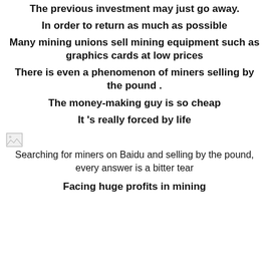The previous investment may just go away.
In order to return as much as possible
Many mining unions sell mining equipment such as graphics cards at low prices
There is even a phenomenon of miners selling by the pound .
The money-making guy is so cheap
It 's really forced by life
[Figure (photo): Small broken image icon]
Searching for miners on Baidu and selling by the pound, every answer is a bitter tear
Facing huge profits in mining